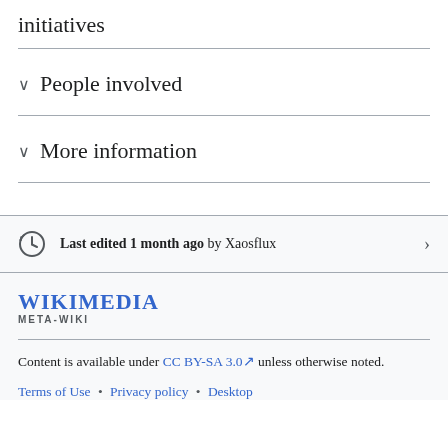initiatives
People involved
More information
Last edited 1 month ago by Xaosflux
[Figure (logo): Wikimedia Meta-Wiki logo with wordmark]
Content is available under CC BY-SA 3.0 unless otherwise noted.
Terms of Use • Privacy policy • Desktop